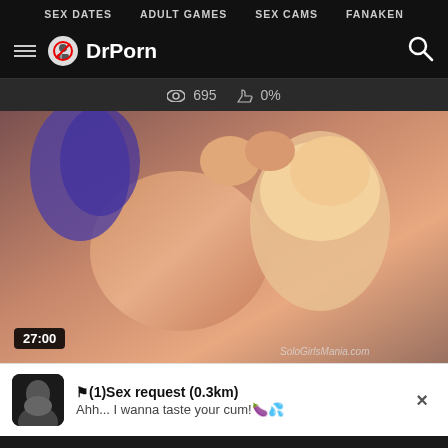SEX DATES  ADULT GAMES  SEX CAMS  FANAKEN
[Figure (screenshot): DrPorn website logo and header navigation bar with search icon]
695  0%
[Figure (photo): Adult video thumbnail showing explicit content with duration 27:00 and SoloGirlsMania.com watermark]
⚑(1)Sex request (0.3km)
Ahh... I wanna taste your cum!🍆💦